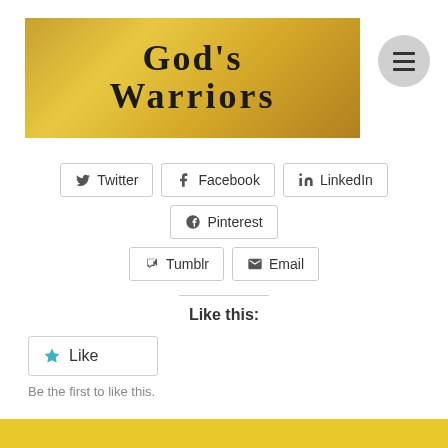[Figure (logo): God's Warriors website banner with golden/tan gradient background and bold serif text]
Twitter
Facebook
LinkedIn
Pinterest
Tumblr
Email
Like this:
Like
Be the first to like this.